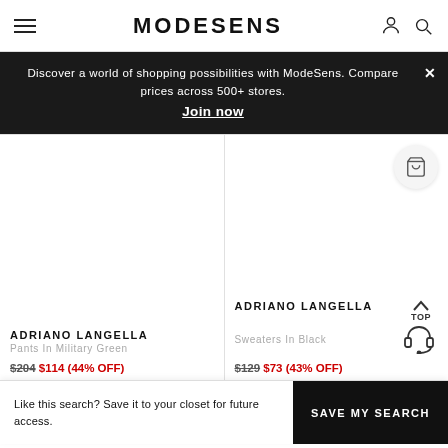MODESENS
Discover a world of shopping possibilities with ModeSens. Compare prices across 500+ stores. Join now
ADRIANO LANGELLA
Pants In Military Green
$204 $114 (44% OFF)
ADRIANO LANGELLA
Sweaters In Black
$129 $73 (43% OFF)
Like this search? Save it to your closet for future access.